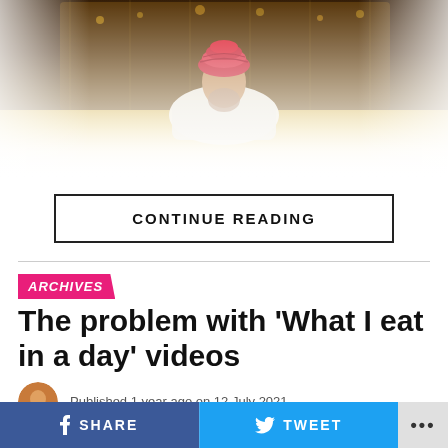[Figure (photo): A person wearing a red turban seated in front of ornate golden decorative background, fading to white at the bottom]
CONTINUE READING
ARCHIVES
The problem with ‘What I eat in a day’ videos
Published 1 year ago on 12 July 2021
SHARE   TWEET   ...